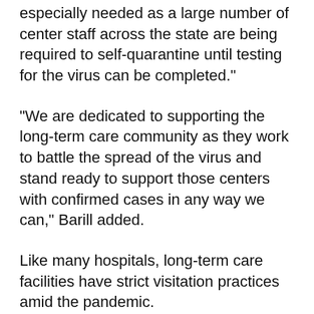especially needed as a large number of center staff across the state are being required to self-quarantine until testing for the virus can be completed."
"We are dedicated to supporting the long-term care community as they work to battle the spread of the virus and stand ready to support those centers with confirmed cases in any way we can," Barill added.
Like many hospitals, long-term care facilities have strict visitation practices amid the pandemic.
Dr. Tom Fausett, medical director of Southwell Health and Rehabilitation in Adel, told GHN that the nursing home is basically under a lockdown, even though it has had no COVID-19 cases so far.
"There are no visitors, with very, very extreme exceptions," such as for a resident in hospice who is